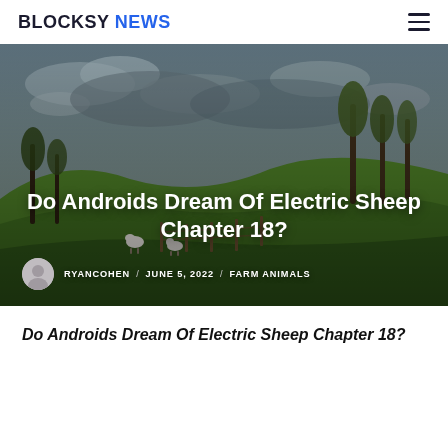BLOCKSY NEWS
[Figure (photo): Scenic rural landscape with green hills, sheep grazing, wooden fences, and tall windswept trees against a dramatic cloudy sky. Overlaid with article title and author metadata.]
Do Androids Dream Of Electric Sheep Chapter 18?
RYANCOHEN / JUNE 5, 2022 / FARM ANIMALS
Do Androids Dream Of Electric Sheep Chapter 18?